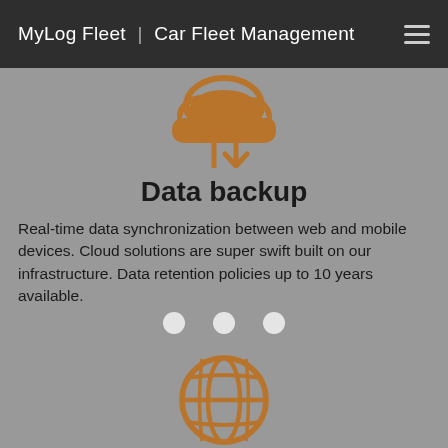MyLog Fleet | Car Fleet Management
[Figure (illustration): Gold/amber colored cloud icon with an upward arrow and a downward arrow, representing data backup and synchronization.]
Data backup
Real-time data synchronization between web and mobile devices. Cloud solutions are super swift built on our infrastructure. Data retention policies up to 10 years available.
[Figure (illustration): Gold/amber colored globe/world icon representing location services.]
Locate your car
Locate your cars on the globe map. Built-in privacy settings and policies.